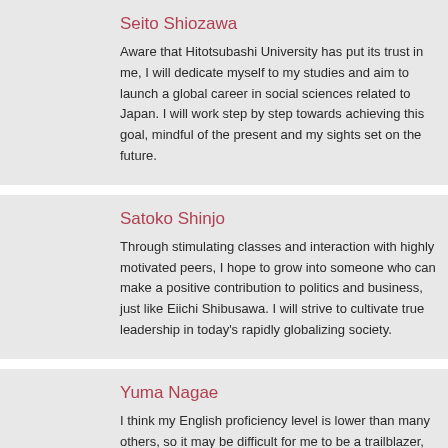Seito Shiozawa
Aware that Hitotsubashi University has put its trust in me, I will dedicate myself to my studies and aim to launch a global career in social sciences related to Japan. I will work step by step towards achieving this goal, mindful of the present and my sights set on the future.
Satoko Shinjo
Through stimulating classes and interaction with highly motivated peers, I hope to grow into someone who can make a positive contribution to politics and business, just like Eiichi Shibusawa. I will strive to cultivate true leadership in today's rapidly globalizing society.
Yuma Nagae
I think my English proficiency level is lower than many others, so it may be difficult for me to be a trailblazer, by I will actively participate in discussions and play a leadership role.